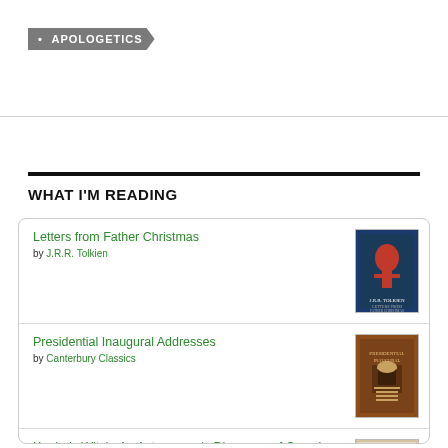• APOLOGETICS
WHAT I'M READING
Letters from Father Christmas by J.R.R. Tolkien
Presidential Inaugural Addresses by Canterbury Classics
Kepler's Witch: An Astronomer's Discovery of Cosmic Order Amid Religious War, Political Intrigue, and the Heresy Trial of His Mother by James A. Connor